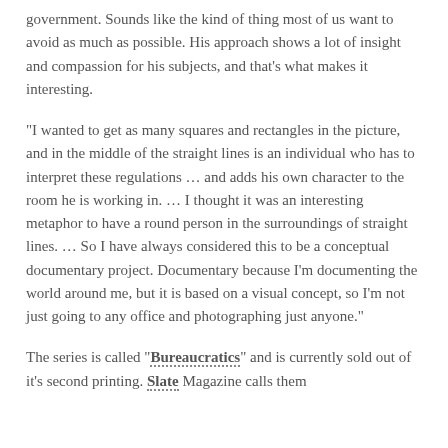government. Sounds like the kind of thing most of us want to avoid as much as possible. His approach shows a lot of insight and compassion for his subjects, and that's what makes it interesting.
“I wanted to get as many squares and rectangles in the picture, and in the middle of the straight lines is an individual who has to interpret these regulations … and adds his own character to the room he is working in. … I thought it was an interesting metaphor to have a round person in the surroundings of straight lines. … So I have always considered this to be a conceptual documentary project. Documentary because I’m documenting the world around me, but it is based on a visual concept, so I’m not just going to any office and photographing just anyone.”
The series is called “Bureaucratics” and is currently sold out of it’s second printing. Slate Magazine calls them